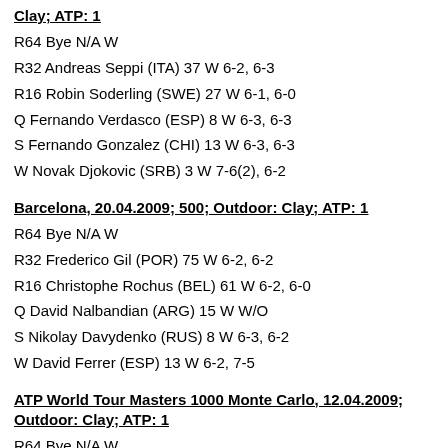Clay; ATP: 1
R64 Bye N/A W
R32 Andreas Seppi (ITA) 37 W 6-2, 6-3
R16 Robin Soderling (SWE) 27 W 6-1, 6-0
Q Fernando Verdasco (ESP) 8 W 6-3, 6-3
S Fernando Gonzalez (CHI) 13 W 6-3, 6-3
W Novak Djokovic (SRB) 3 W 7-6(2), 6-2
Barcelona, 20.04.2009; 500; Outdoor: Clay; ATP: 1
R64 Bye N/A W
R32 Frederico Gil (POR) 75 W 6-2, 6-2
R16 Christophe Rochus (BEL) 61 W 6-2, 6-0
Q David Nalbandian (ARG) 15 W W/O
S Nikolay Davydenko (RUS) 8 W 6-3, 6-2
W David Ferrer (ESP) 13 W 6-2, 7-5
ATP World Tour Masters 1000 Monte Carlo, 12.04.2009; Outdoor: Clay; ATP: 1
R64 Bye N/A W